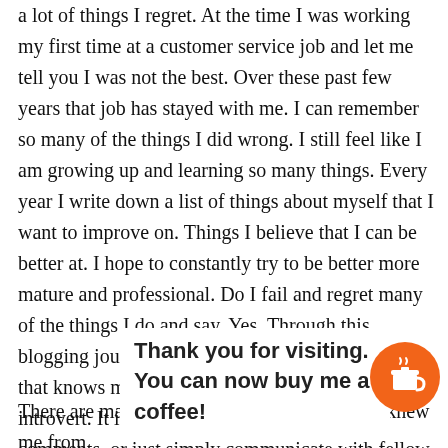a lot of things I regret. At the time I was working my first time at a customer service job and let me tell you I was not the best. Over these past few years that job has stayed with me. I can remember so many of the things I did wrong. I still feel like I am growing up and learning so many things. Every year I write down a list of things about myself that I want to improve on. Things I believe that I can be better at. I hope to constantly try to be better more mature and professional. Do I fail and regret many of the things I do and say, Yes. Through this blogging journey I have learned so much. Anyone that knows me personally knows that I am an introvert. It is really hard for me to reply to comments, or just simply communicate with fellow bloggers online. I am pretty shy. I am trying to improve my communication. Blogging ha...
Thank you for visiting. You can now buy me a coffee!
There are many people I know in person who knew me from